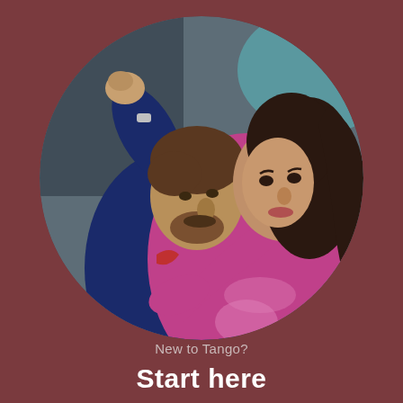[Figure (photo): A couple dancing tango in close embrace. The man wears a dark navy blue shirt and the woman wears a bright pink/magenta long-sleeve top. They face each other intimately, foreheads nearly touching. The image is cropped in a circle shape against a dark reddish-brown background.]
New to Tango?
Start here